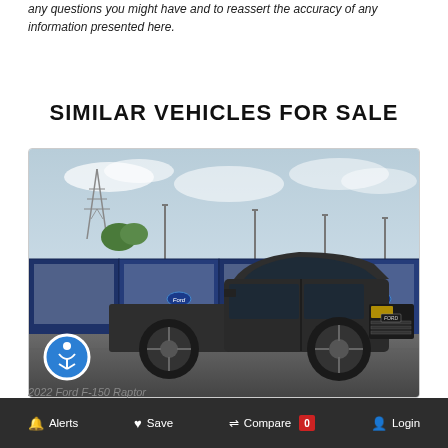any questions you might have and to reassert the accuracy of any information presented here.
SIMILAR VEHICLES FOR SALE
[Figure (photo): A dark gray Ford F-150 Raptor pickup truck parked on pavement in front of blue and white rail cars/freight containers, with light poles and a power transmission tower in the background. An accessibility (wheelchair) icon overlay appears in the lower left of the image.]
Alerts   Save   Compare 0   Login
2022 Ford F-150 Raptor